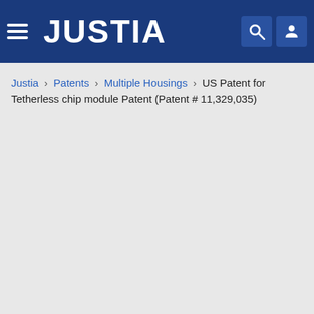JUSTIA
Justia › Patents › Multiple Housings › US Patent for Tetherless chip module Patent (Patent # 11,329,035)